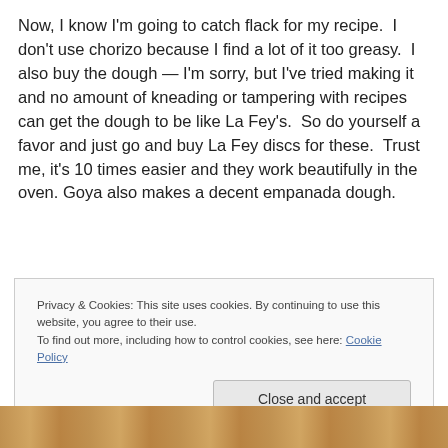Now, I know I'm going to catch flack for my recipe. I don't use chorizo because I find a lot of it too greasy. I also buy the dough — I'm sorry, but I've tried making it and no amount of kneading or tampering with recipes can get the dough to be like La Fey's. So do yourself a favor and just go and buy La Fey discs for these. Trust me, it's 10 times easier and they work beautifully in the oven. Goya also makes a decent empanada dough.
Privacy & Cookies: This site uses cookies. By continuing to use this website, you agree to their use. To find out more, including how to control cookies, see here: Cookie Policy
Close and accept
[Figure (photo): Bottom strip showing a partial photo of empanadas or baked food items, golden-brown in color]